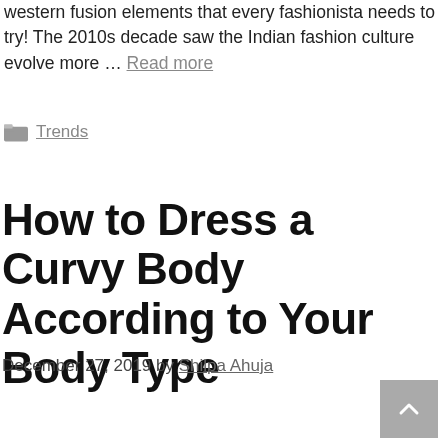western fusion elements that every fashionista needs to try! The 2010s decade saw the Indian fashion culture evolve more … Read more
Trends
How to Dress a Curvy Body According to Your Body Type
December 27, 2019 by Shilpa Ahuja